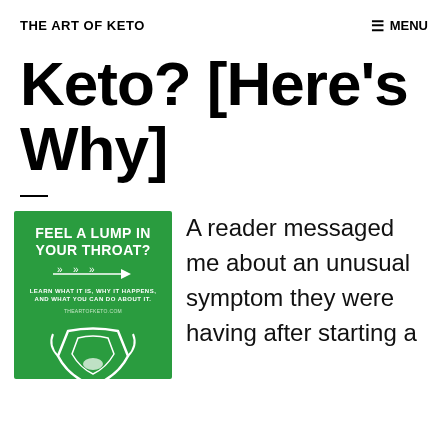THE ART OF KETO
Keto? [Here's Why]
[Figure (illustration): Green promotional image with white text reading 'FEEL A LUMP IN YOUR THROAT?' with arrows and subtext 'LEARN WHAT IT IS, WHY IT HAPPENS, AND WHAT YOU CAN DO ABOUT IT.' with theartofketo.com, and a white illustrated throat/neck graphic at the bottom.]
A reader messaged me about an unusual symptom they were having after starting a